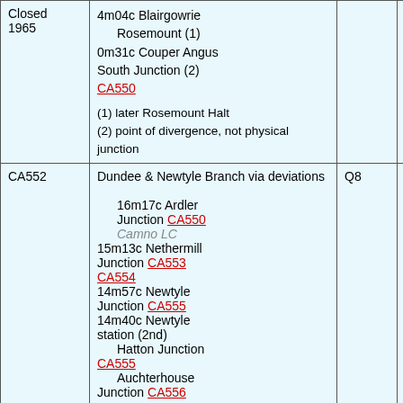| ID | Description | Col3 | Col4 |
| --- | --- | --- | --- |
| Closed 1965 | 4m04c Blairgowrie Rosemount (1)
0m31c Couper Angus South Junction (2)
CA550

(1) later Rosemount Halt
(2) point of divergence, not physical junction |  |  |
| CA552 | Dundee & Newtyle Branch via deviations

16m17c Ardler Junction CA550
Camno LC
15m13c Nethermill Junction CA553 CA554
14m57c Newtyle Junction CA555
14m40c Newtyle station (2nd)
Hatton Junction CA555
Auchterhouse Junction CA556 | Q8 | DDN |